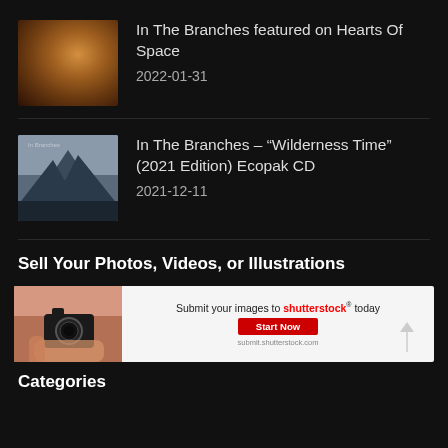In The Branches featured on Hearts Of Space
2022-01-31
In The Branches – “Wilderness Time” (2021 Edition) Ecopak CD
2021-12-11
Sell Your Photos, Videos, or Illustrations
[Figure (infographic): Shutterstock advertisement banner with camera image, text 'Submit your images to shutterstock today', Start Now button, and submit.shutterstock.com URL]
Categories